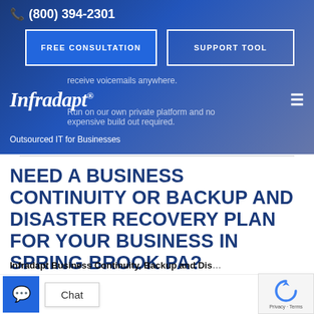(800) 394-2301
FREE CONSULTATION
SUPPORT TOOL
receive voicemails anywhere. Run on our private platform and no expensive build out required.
Infradapt
Outsourced IT for Businesses
NEED A BUSINESS CONTINUITY OR BACKUP AND DISASTER RECOVERY PLAN FOR YOUR BUSINESS IN SPRING BROOK PA?
Infradapt Business Continuity, Backup and Disaster Recovery Plan with our Outsourced CIO...